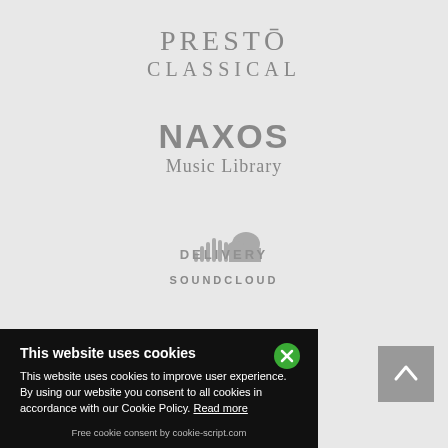[Figure (logo): Presto Classical logo - grey serif text]
[Figure (logo): Naxos Music Library logo - grey bold text]
[Figure (logo): SoundCloud logo - grey cloud with waveform icon]
[Figure (logo): YouTube logo - grey rounded rectangle with You Tube text]
DELIVERY
This website uses cookies
This website uses cookies to improve user experience. By using our website you consent to all cookies in accordance with our Cookie Policy. Read more
Free cookie consent by cookie-script.com